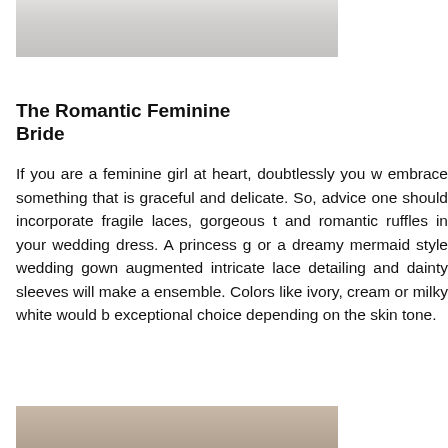[Figure (photo): Top portion of a wedding dress photo, showing white/ivory fabric against a grey background]
The Romantic Feminine Bride
If you are a feminine girl at heart, doubtlessly you w embrace something that is graceful and delicate. So, advice one should incorporate fragile laces, gorgeous t and romantic ruffles in your wedding dress. A princess g or a dreamy mermaid style wedding gown augmented intricate lace detailing and dainty sleeves will make a ensemble. Colors like ivory, cream or milky white would b exceptional choice depending on the skin tone.
[Figure (photo): Bottom portion of a photo showing a bride, cropped at the bottom of the page]